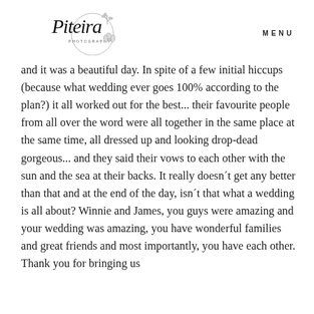[Figure (logo): Piteira Photography script logo with circular botanical illustration and floral elements]
MENU
and it was a beautiful day.  In spite of a few initial hiccups (because what wedding ever goes 100% according to the plan?) it all worked out for the best... their favourite people from all over the word were all together in the same place at the same time, all dressed up and looking drop-dead gorgeous... and they said their vows to each other with the sun and the sea at their backs. It really doesn´t get any better than that and at the end of the day, isn´t that what a wedding is all about?  Winnie and James, you guys were amazing and your wedding was amazing, you have wonderful families and great friends and most importantly, you have each other. Thank you for bringing us